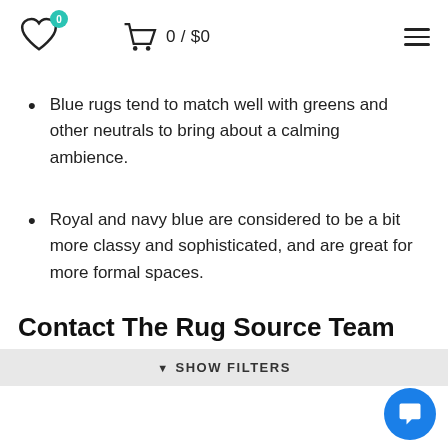0 / $0
Blue rugs tend to match well with greens and other neutrals to bring about a calming ambience.
Royal and navy blue are considered to be a bit more classy and sophisticated, and are great for more formal spaces.
Contact The Rug Source Team
▼ SHOW FILTERS